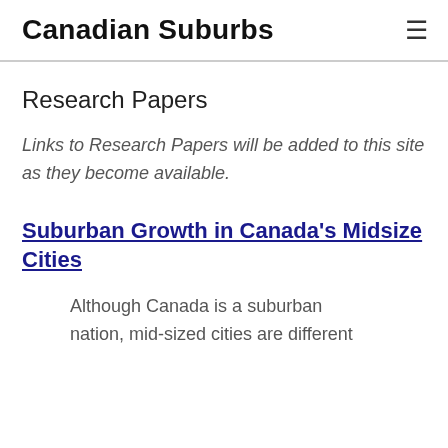Canadian Suburbs
Research Papers
Links to Research Papers will be added to this site as they become available.
Suburban Growth in Canada's Midsize Cities
Although Canada is a suburban nation, mid-sized cities are different